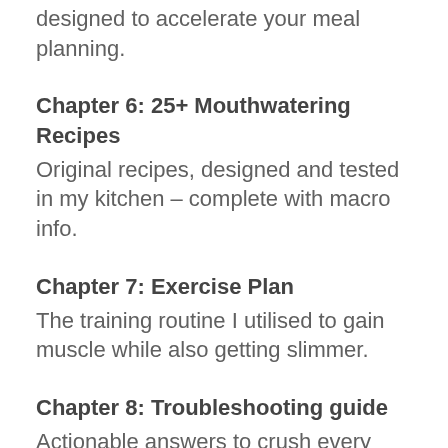designed to accelerate your meal planning.
Chapter 6: 25+ Mouthwatering Recipes
Original recipes, designed and tested in my kitchen – complete with macro info.
Chapter 7: Exercise Plan
The training routine I utilised to gain muscle while also getting slimmer.
Chapter 8: Troubleshooting guide
Actionable answers to crush every one of your questions and challenges.